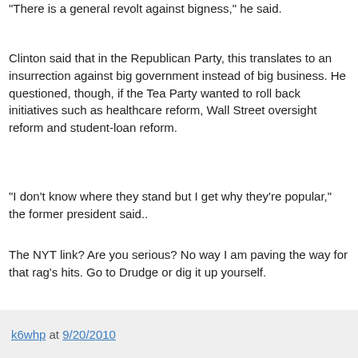"There is a general revolt against bigness," he said.
Clinton said that in the Republican Party, this translates to an insurrection against big government instead of big business. He questioned, though, if the Tea Party wanted to roll back initiatives such as healthcare reform, Wall Street oversight reform and student-loan reform.
"I don't know where they stand but I get why they're popular," the former president said..
The NYT link? Are you serious? No way I am paving the way for that rag's hits. Go to Drudge or dig it up yourself.
- 30 -
k6whp at 9/20/2010